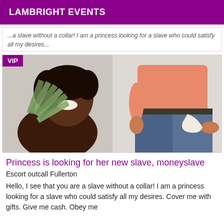LAMBRIGHT EVENTS
...a slave without a collar! I am a princess looking for a slave who could satisfy all my desires. Cover me with gifts. Give me cash. Obey me
[Figure (photo): A smiling woman holding a fan of dollar bills, beside a man in jeans pulling out empty pockets. VIP badge overlay in top-left corner.]
Princess is looking for her new slave, moneyslave
Escort outcall Fullerton
Hello, I see that you are a slave without a collar! I am a princess looking for a slave who could satisfy all my desires. Cover me with gifts. Give me cash. Obey me